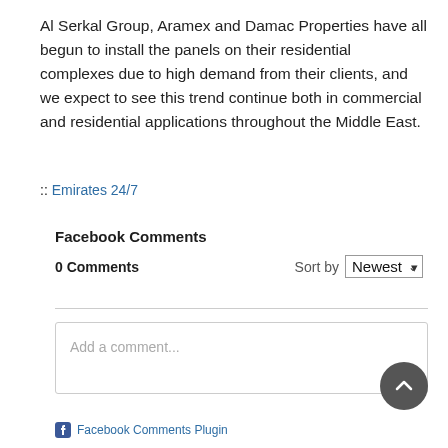Al Serkal Group, Aramex and Damac Properties have all begun to install the panels on their residential complexes due to high demand from their clients, and we expect to see this trend continue both in commercial and residential applications throughout the Middle East.
:: Emirates 24/7
Facebook Comments
0 Comments
Sort by Newest
Add a comment...
Facebook Comments Plugin